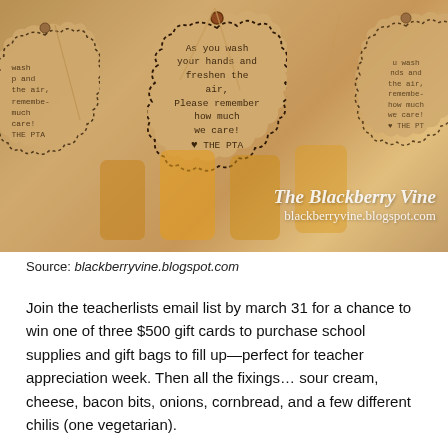[Figure (photo): Photograph of scalloped kraft paper gift tags with typewriter-style text reading 'As you wash your hands and freshen the air, Please remember how much we care! ♥ THE PTA', tied with twine to small bottles. Watermark reads 'The Blackberry Vine blackberryvine.blogspot.com']
Source: blackberryvine.blogspot.com
Join the teacherlists email list by march 31 for a chance to win one of three $500 gift cards to purchase school supplies and gift bags to fill up—perfect for teacher appreciation week. Then all the fixings… sour cream, cheese, bacon bits, onions, cornbread, and a few different chilis (one vegetarian).